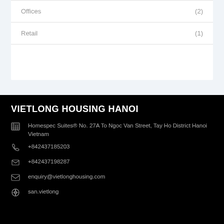Offices (2)
Retail (1)
VIETLONG HOUSING HANOI
Homespec Suites® No. 27A To Ngoc Van Street, Tay Ho District Hanoi Vietnam
+842437185203
+842437198287
enquiry@vietlonghousing.com
san.vietlong